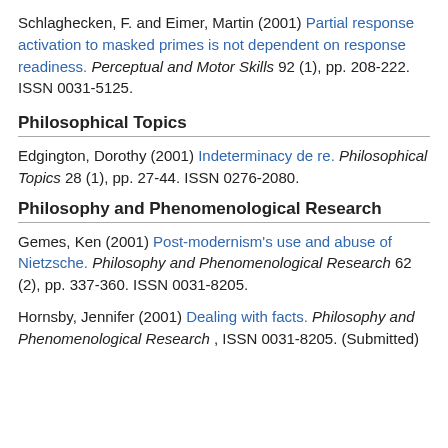Schlaghecken, F. and Eimer, Martin (2001) Partial response activation to masked primes is not dependent on response readiness. Perceptual and Motor Skills 92 (1), pp. 208-222. ISSN 0031-5125.
Philosophical Topics
Edgington, Dorothy (2001) Indeterminacy de re. Philosophical Topics 28 (1), pp. 27-44. ISSN 0276-2080.
Philosophy and Phenomenological Research
Gemes, Ken (2001) Post-modernism's use and abuse of Nietzsche. Philosophy and Phenomenological Research 62 (2), pp. 337-360. ISSN 0031-8205.
Hornsby, Jennifer (2001) Dealing with facts. Philosophy and Phenomenological Research , ISSN 0031-8205. (Submitted)